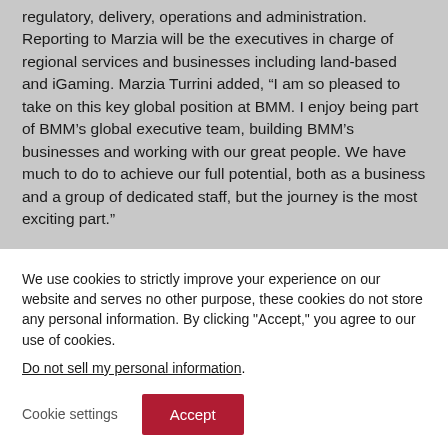regulatory, delivery, operations and administration. Reporting to Marzia will be the executives in charge of regional services and businesses including land-based and iGaming. Marzia Turrini added, “I am so pleased to take on this key global position at BMM. I enjoy being part of BMM’s global executive team, building BMM’s businesses and working with our great people. We have much to do to achieve our full potential, both as a business and a group of dedicated staff, but the journey is the most exciting part.”
We use cookies to strictly improve your experience on our website and serves no other purpose, these cookies do not store any personal information. By clicking "Accept," you agree to our use of cookies.
Do not sell my personal information.
Cookie settings
Accept